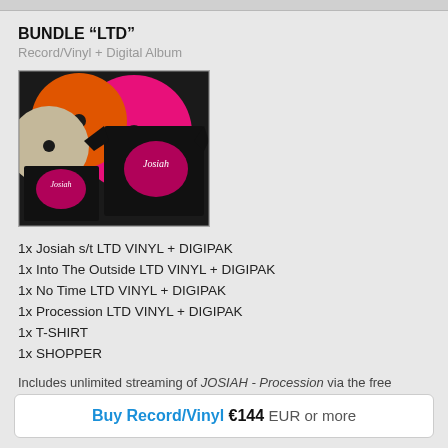BUNDLE “LTD”
Record/Vinyl + Digital Album
[Figure (photo): Product bundle photo showing colored vinyl records (pink, orange, beige) and black Josiah branded t-shirts and a shopper bag with pink logo]
1x Josiah s/t LTD VINYL + DIGIPAK
1x Into The Outside LTD VINYL + DIGIPAK
1x No Time LTD VINYL + DIGIPAK
1x Procession LTD VINYL + DIGIPAK
1x T-SHIRT
1x SHOPPER
Includes unlimited streaming of JOSIAH - Procession via the free Bandcamp app, plus high-quality download in MP3, FLAC and more.
ships out within 6 days
Buy Record/Vinyl €144 EUR or more